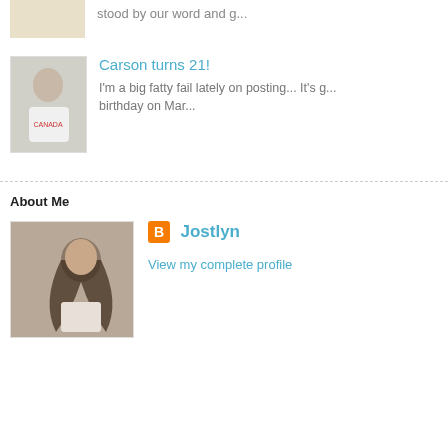[Figure (photo): Thumbnail of a man in a white Canada hoodie]
Carson turns 21!
I'm a big fatty fail lately on posting... It's g... birthday on Mar...
[Figure (photo): Profile photo of a young woman with long dark hair in sepia tone]
About Me
Jostlyn
View my complete profile